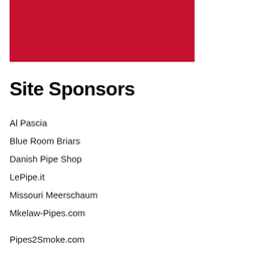[Figure (other): Red rectangular banner/image block]
Site Sponsors
Al Pascia
Blue Room Briars
Danish Pipe Shop
LePipe.it
Missouri Meerschaum
Mkelaw-Pipes.com
Pipes2Smoke.com